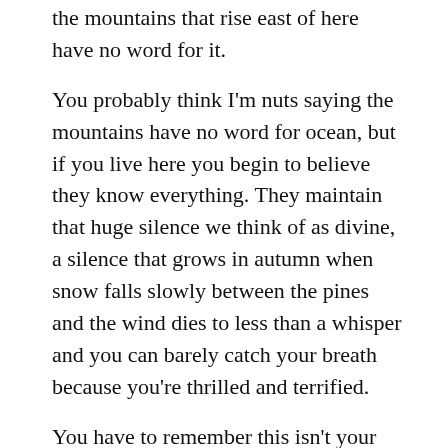the mountains that rise east of here have no word for it.
You probably think I'm nuts saying the mountains have no word for ocean, but if you live here you begin to believe they know everything. They maintain that huge silence we think of as divine, a silence that grows in autumn when snow falls slowly between the pines and the wind dies to less than a whisper and you can barely catch your breath because you're thrilled and terrified.
You have to remember this isn't your land. It belongs to no one, like the sea you once lived beside and thought was yours. Remember the small boats that bobbed out as the waves rode in, and the men who carved a living from it only to find themselves